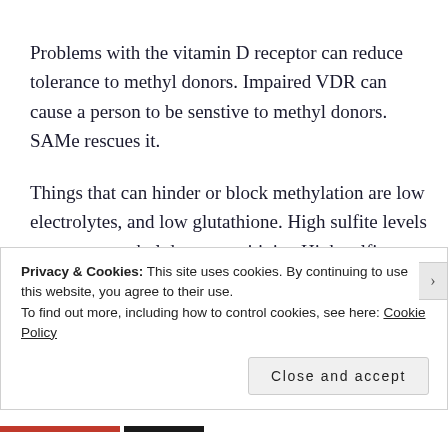Problems with the vitamin D receptor can reduce tolerance to methyl donors. Impaired VDR can cause a person to be senstive to methyl donors. SAMe rescues it.
Things that can hinder or block methylation are low electrolytes, and low glutathione. High sulfite levels can cause methyl donor sensitivity. High sulfites can be cause by CBS issues, BH4 causing CBS upregulation or gut dysbiosis. Low superoxide dismutase can also cause
Privacy & Cookies: This site uses cookies. By continuing to use this website, you agree to their use.
To find out more, including how to control cookies, see here: Cookie Policy
Close and accept